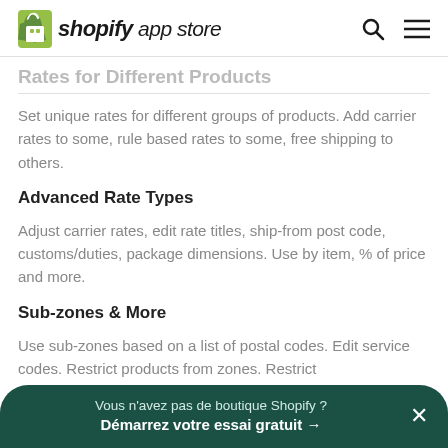shopify app store
Rates for Different Products
Set unique rates for different groups of products. Add carrier rates to some, rule based rates to some, free shipping to others.
Advanced Rate Types
Adjust carrier rates, edit rate titles, ship-from post code, customs/duties, package dimensions. Use by item, % of price and more.
Sub-zones & More
Use sub-zones based on a list of postal codes. Edit service codes. Restrict products from zones. Restrict
Vous n'avez pas de boutique Shopify ?
Démarrez votre essai gratuit →